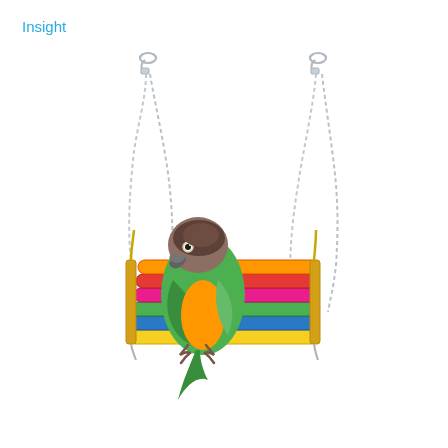Insight
[Figure (photo): A green and brown parrot (conure) perched on a colorful wooden swing toy. The swing has multiple horizontal colored wooden rungs (yellow, red, green, blue, pink) connected by metal chains with carabiner clips at the top. The bird is standing on the swing, facing left.]